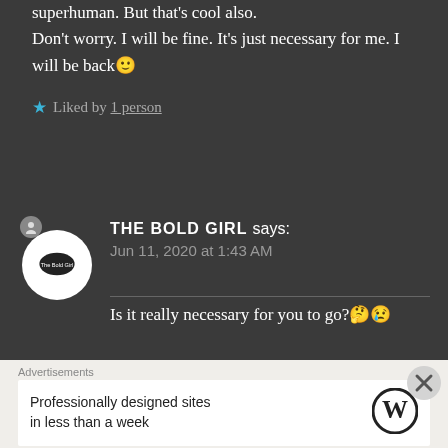superhuman. But that's cool also.
Don't worry. I will be fine. It's just necessary for me. I will be back🙂
★ Liked by 1 person
THE BOLD GIRL says:
Jun 11, 2020 at 1:43 AM
Is it really necessary for you to go?🤔😢
Advertisements
Professionally designed sites in less than a week